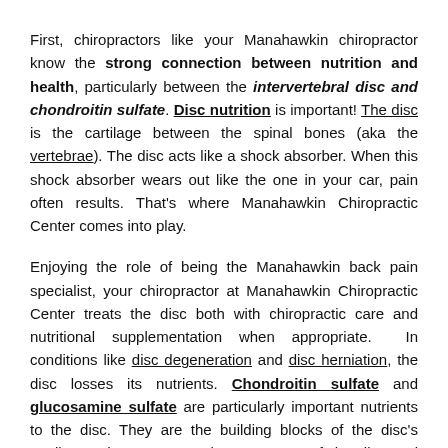First, chiropractors like your Manahawkin chiropractor know the strong connection between nutrition and health, particularly between the intervertebral disc and chondroitin sulfate. Disc nutrition is important! The disc is the cartilage between the spinal bones (aka the vertebrae). The disc acts like a shock absorber. When this shock absorber wears out like the one in your car, pain often results. That's where Manahawkin Chiropractic Center comes into play.
Enjoying the role of being the Manahawkin back pain specialist, your chiropractor at Manahawkin Chiropractic Center treats the disc both with chiropractic care and nutritional supplementation when appropriate. In conditions like disc degeneration and disc herniation, the disc losses its nutrients. Chondroitin sulfate and glucosamine sulfate are particularly important nutrients to the disc. They are the building blocks of the disc's cartilage. They are natural components of the disc and found in the cartilage around joints.
Patients with conditions like osteoarthritis – a result of wear